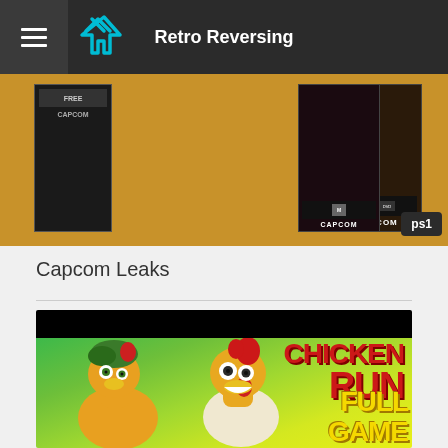Retro Reversing
[Figure (screenshot): Capcom game covers displayed in a horizontal strip with golden/tan background, showing Capcom-branded game boxes with M ratings, and a ps1 badge in the bottom right corner]
Capcom Leaks
[Figure (screenshot): Chicken Run Full Game thumbnail showing two animated chicken characters (Ginger and Rocky) against a bright green background with bold red and yellow text reading CHICKEN RUN FULL GAME, with a black bar at the top]